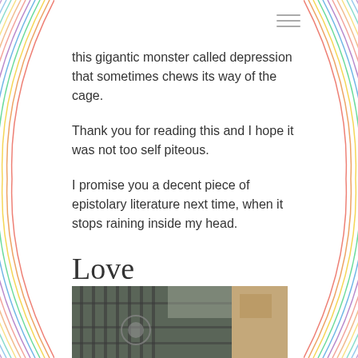this gigantic monster called depression that sometimes chews its way of the cage.
Thank you for reading this and I hope it was not too self piteous.
I promise you a decent piece of epistolary literature next time, when it stops raining inside my head.
Love
Nora
[Figure (photo): A photograph showing what appears to be an ornate gate or fence with decorative metalwork, with a building visible in the background. The image is partially cropped at the bottom of the page.]